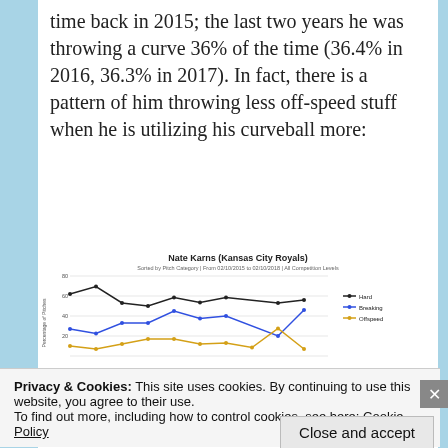time back in 2015; the last two years he was throwing a curve 36% of the time (36.4% in 2016, 36.3% in 2017). In fact, there is a pattern of him throwing less off-speed stuff when he is utilizing his curveball more:
[Figure (line-chart): Line chart showing Hard, Breaking, and Offspeed pitch percentages for Nate Karns (Kansas City Royals), sorted by Pitch Category from 02/10/2015 to 02/10/2018, All Competition Levels. Three lines: black (Hard) starts ~62, peaks ~70, drops to ~52, then ~58, ~52; blue (Breaking) starts ~27, dips ~22, rises ~33, ~33, spikes ~46, drops ~38, ~40, then rises ~46; orange/gold (Offspeed) stays low ~10-18 range throughout.]
Privacy & Cookies: This site uses cookies. By continuing to use this website, you agree to their use.
To find out more, including how to control cookies, see here: Cookie Policy